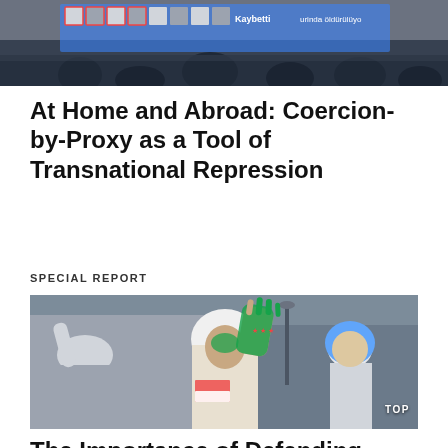[Figure (photo): Protest scene with people holding signs and photos, Turkish text visible including 'Kaybetti' and 'urinda öldürülüyo']
At Home and Abroad: Coercion-by-Proxy as a Tool of Transnational Repression
SPECIAL REPORT
[Figure (photo): A woman protester with green paint on her hand raised, wearing a white hijab, with painted star symbols on her palm, crowd in background. 'TOP' label visible.]
The Importance of Defending Diaspora Activism from Repression